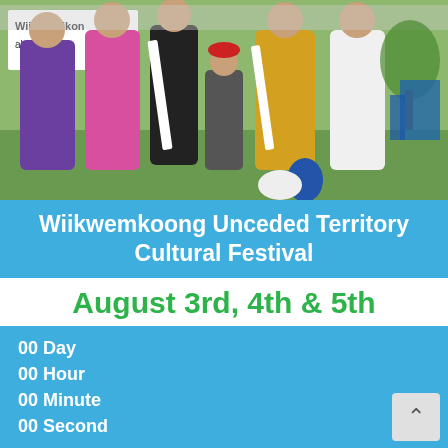[Figure (photo): Group of people in traditional Indigenous regalia and casual clothing standing outdoors at a cultural festival. A banner in the background reads 'Wiikwemikong Cultural Festival'.]
Wiikwememkoong Unceded Territory Cultural Festival
August 3rd, 4th & 5th
00 Day
00 Hour
00 Minute
00 Second
[Figure (map): Partial Google map showing Wikwemikong area with a 'View larger map' button in the lower left.]